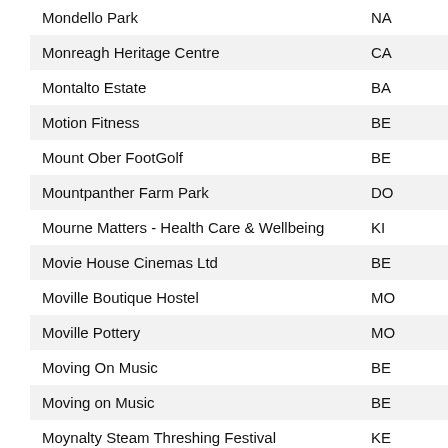| Name | Code |
| --- | --- |
| Mondello Park | NA |
| Monreagh Heritage Centre | CA |
| Montalto Estate | BA |
| Motion Fitness | BE |
| Mount Ober FootGolf | BE |
| Mountpanther Farm Park | DO |
| Mourne Matters - Health Care & Wellbeing | KI |
| Movie House Cinemas Ltd | BE |
| Moville Boutique Hostel | MO |
| Moville Pottery | MO |
| Moving On Music | BE |
| Moving on Music | BE |
| Moynalty Steam Threshing Festival | KE |
| Moyola Park Golf Club | MA |
| MPI ARTISTS | DU |
| Mulhall Portrait Artist | AR |
| Murphys Bar & Restaurant | DO |
| Music Weekend 2019 - Ally Harron & Marian Curry | DO |